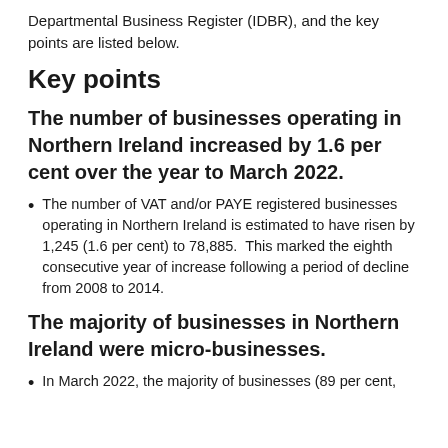Departmental Business Register (IDBR), and the key points are listed below.
Key points
The number of businesses operating in Northern Ireland increased by 1.6 per cent over the year to March 2022.
The number of VAT and/or PAYE registered businesses operating in Northern Ireland is estimated to have risen by 1,245 (1.6 per cent) to 78,885.  This marked the eighth consecutive year of increase following a period of decline from 2008 to 2014.
The majority of businesses in Northern Ireland were micro-businesses.
In March 2022, the majority of businesses (89 per cent,